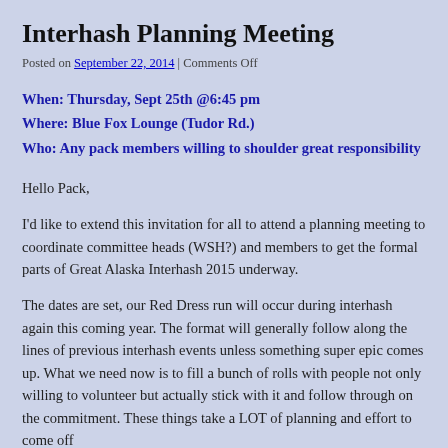Interhash Planning Meeting
Posted on September 22, 2014 | Comments Off
When: Thursday, Sept 25th @6:45 pm
Where: Blue Fox Lounge (Tudor Rd.)
Who: Any pack members willing to shoulder great responsibility
Hello Pack,
I'd like to extend this invitation for all to attend a planning meeting to coordinate committee heads (WSH?) and members to get the formal parts of Great Alaska Interhash 2015 underway.
The dates are set, our Red Dress run will occur during interhash again this coming year. The format will generally follow along the lines of previous interhash events unless something super epic comes up. What we need now is to fill a bunch of rolls with people not only willing to volunteer but actually stick with it and follow through on the commitment. These things take a LOT of planning and effort to come off